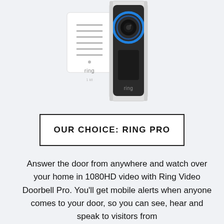[Figure (photo): Product photo of Ring Video Doorbell Pro and Ring Chime — a slim vertical smart doorbell with a glowing blue ring around the camera lens, in a silver finish, alongside a white plug-in chime unit with the 'ring' logo, both on a light grey background.]
OUR CHOICE: RING PRO
Answer the door from anywhere and watch over your home in 1080HD video with Ring Video Doorbell Pro. You'll get mobile alerts when anyone comes to your door, so you can see, hear and speak to visitors from